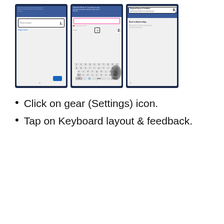[Figure (screenshot): Three smartphone screenshots showing steps 1, 2, and 3 of keyboard settings configuration on an Android device. Screenshot 1 shows a phone number input screen with label '1.'. Screenshot 2 shows a keyboard with settings gear icon highlighted, labeled '2.'. Screenshot 3 shows 'Keyboard layout & feedback' settings screen, labeled '3.'.]
Click on gear (Settings) icon.
Tap on Keyboard layout & feedback.